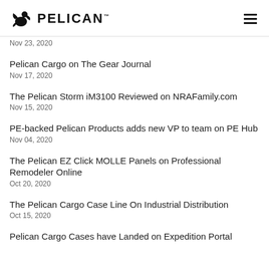PELICAN
Nov 23, 2020
Pelican Cargo on The Gear Journal
Nov 17, 2020
The Pelican Storm iM3100 Reviewed on NRAFamily.com
Nov 15, 2020
PE-backed Pelican Products adds new VP to team on PE Hub
Nov 04, 2020
The Pelican EZ Click MOLLE Panels on Professional Remodeler Online
Oct 20, 2020
The Pelican Cargo Case Line On Industrial Distribution
Oct 15, 2020
Pelican Cargo Cases have Landed on Expedition Portal